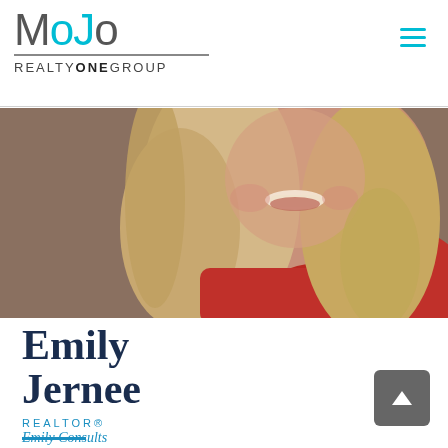[Figure (logo): MoJo Realty One Group logo in cyan and dark grey with horizontal rule]
[Figure (photo): Professional headshot photo of Emily Jernee, a blonde woman smiling, wearing red, cropped to show face and upper body]
Emily Jernee
REALTOR®
Emily Consults